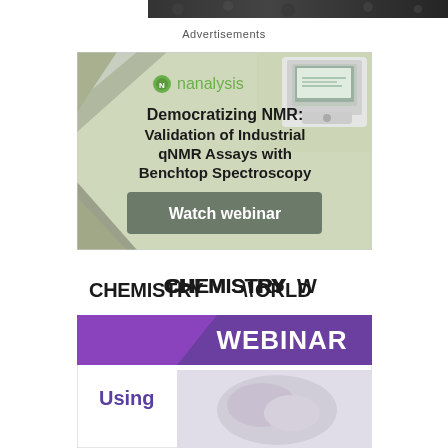[Figure (photo): Top strip showing partial image of scientific/chemistry related content, dark textured background]
Advertisements
[Figure (illustration): Nanalysis advertisement banner: green and grey geometric design with NMR device image. Text reads 'nanalysis - Democratizing NMR: Validation of Industrial qNMR Assays with Benchtop Spectroscopy - Watch webinar']
[Figure (illustration): Chemistry World Webinar advertisement banner with purple diagonal stripe design. Text reads 'CHEMISTRY WORLD WEBINAR Using']